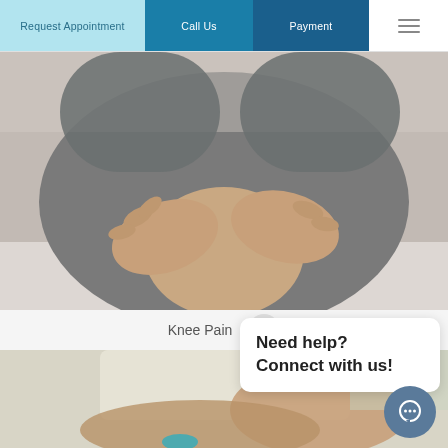Request Appointment | Call Us | Payment
[Figure (photo): Close-up of a person in grey pants holding/massaging their knee with both hands, sitting on a white surface — medical/health context for knee pain]
Knee Pain  ×
Need help? Connect with us!
[Figure (photo): Person performing a leg stretch or ankle/foot therapy exercise, blurred background with light tones — lower body physical therapy context]